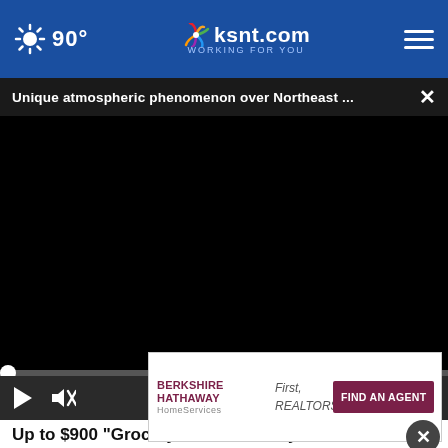90° ksnt.com WORKING FOR YOU
Unique atmospheric phenomenon over Northeast ...
[Figure (screenshot): Black video player area showing a paused/unloaded video with playback controls: play button, mute icon, timestamp 00:00, and fullscreen button.]
Up to $900 "Grocery Benefit" Everyone on Medicare Should Know
[Figure (advertisement): Berkshire Hathaway HomeServices - First, Realtors banner ad with FIND AN AGENT button]